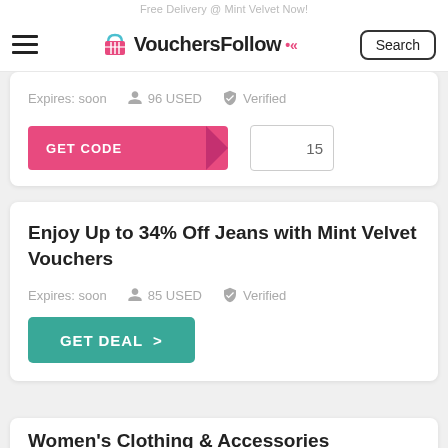Free Delivery @ Mint Velvet Now!
[Figure (logo): VouchersFollow logo with shopping basket icon and arrow]
Expires: soon   96 USED   Verified
[Figure (screenshot): GET CODE button with pink arrow and partial code '15']
Enjoy Up to 34% Off Jeans with Mint Velvet Vouchers
Expires: soon   85 USED   Verified
[Figure (screenshot): GET DEAL > teal button]
Women's Clothing & Accessories